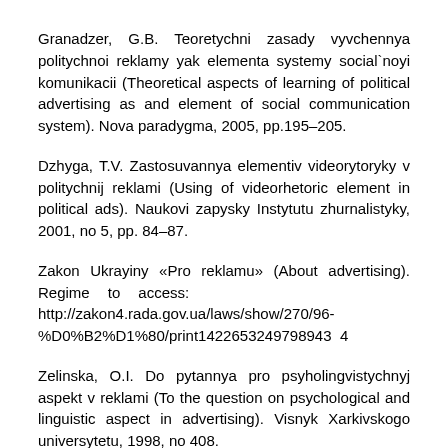Granadzer, G.B. Teoretychni zasady vyvchennya politychnoi reklamy yak elementa systemy social`noyi komunikacii (Theoretical aspects of learning of political advertising as and element of social communication system). Nova paradygma, 2005, pp.195–205.
Dzhyga, T.V. Zastosuvannya elementiv videorytoryky v politychnij reklami (Using of videorhetoric element in political ads). Naukovi zapysky Instytutu zhurnalistyky, 2001, no 5, pp. 84–87.
Zakon Ukrayiny «Pro reklamu» (About advertising). Regime to access: http://zakon4.rada.gov.ua/laws/show/270/96-%D0%B2%D1%80/print1422653249798943 4
Zelinska, O.I. Do pytannya pro psyholingvistychnyj aspekt v reklami (To the question on psychological and linguistic aspect in advertising). Visnyk Xarkivskogo universytetu, 1998, no 408.